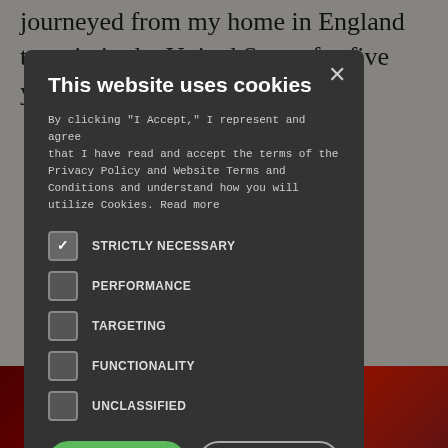journeyed from my home in England to train in the United States for five years to become a The Son-Rise But that was ee decades of
w parents are ding. And I ttrum are ntentions, are y, and
[Figure (screenshot): Cookie consent modal dialog with dark background. Title: 'This website uses cookies'. Body text about accepting privacy policy. Checkboxes for: STRICTLY NECESSARY (checked), PERFORMANCE (unchecked), TARGETING (unchecked), FUNCTIONALITY (unchecked), UNCLASSIFIED (unchecked). Two buttons: 'I ACCEPT' (green) and 'DECLINE ALL' (outline).]
[Figure (photo): Bottom strip showing red/dark red image, partially visible behind modal.]